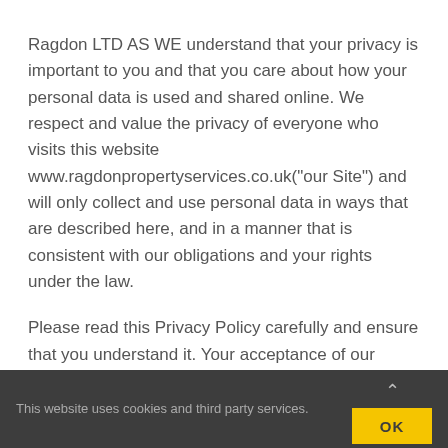Ragdon LTD AS WE understand that your privacy is important to you and that you care about how your personal data is used and shared online. We respect and value the privacy of everyone who visits this website www.ragdonpropertyservices.co.uk("our Site") and will only collect and use personal data in ways that are described here, and in a manner that is consistent with our obligations and your rights under the law.
Please read this Privacy Policy carefully and ensure that you understand it. Your acceptance of our Privacy Policy is deemed to occur upon your first
This website uses cookies and third party services.